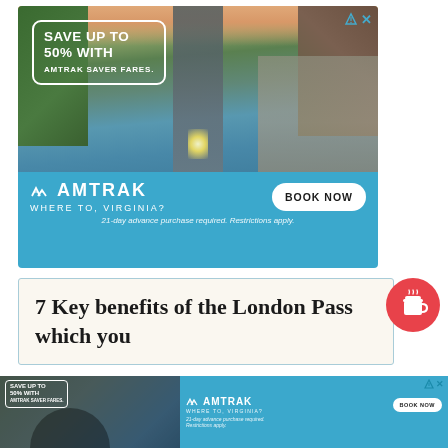[Figure (photo): Amtrak advertisement banner showing a train on tracks through a suburban Virginia town. Top section has a white-bordered box reading 'SAVE UP TO 50% WITH AMTRAK SAVER FARES.' Bottom blue section shows Amtrak logo, 'WHERE TO, VIRGINIA?' tagline, BOOK NOW button, and fine print '21-day advance purchase required. Restrictions apply.']
7 Key benefits of the London Pass which you
[Figure (photo): Second smaller Amtrak advertisement at bottom of page, same content repeated in miniature: photo of train, save up to 50% box, Amtrak logo, WHERE TO VIRGINIA, BOOK NOW button, fine print.]